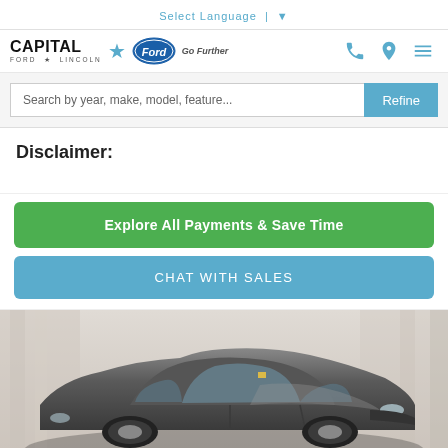Select Language | ▼
[Figure (logo): Capital Ford Lincoln logo with Ford oval badge and GoFurther text]
Search by year, make, model, feature...
Disclaimer:
Explore All Payments & Save Time
CHAT WITH SALES
[Figure (photo): Gray/dark SUV (crossover) photographed in front of white curtain background, front 3/4 view]